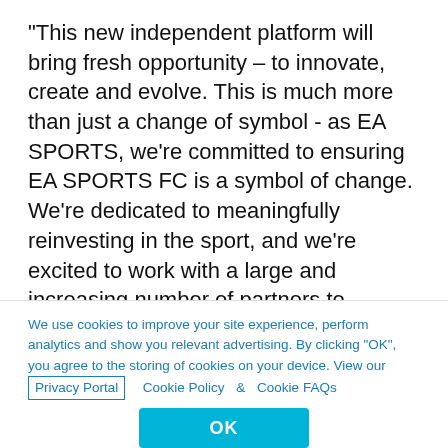"This new independent platform will bring fresh opportunity – to innovate, create and evolve. This is much more than just a change of symbol - as EA SPORTS, we're committed to ensuring EA SPORTS FC is a symbol of change. We're dedicated to meaningfully reinvesting in the sport, and we're excited to work with a large and increasing number of partners to expand to new authentic experiences that bring joy, inclusivity and immersion to a global community of fans. I look forward to sharing more detail on these plans in the coming months.
"EA SPORTS FC will allow us to realize this future
We use cookies to improve your site experience, perform analytics and show you relevant advertising. By clicking "OK", you agree to the storing of cookies on your device. View our Privacy Portal  Cookie Policy &  Cookie FAQs
OK